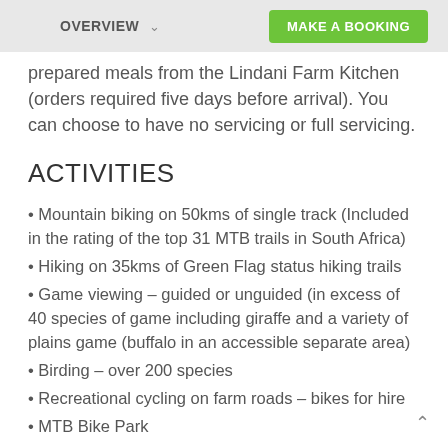OVERVIEW  ∨  MAKE A BOOKING
prepared meals from the Lindani Farm Kitchen (orders required five days before arrival). You can choose to have no servicing or full servicing.
ACTIVITIES
• Mountain biking on 50kms of single track (Included in the rating of the top 31 MTB trails in South Africa)
• Hiking on 35kms of Green Flag status hiking trails
• Game viewing – guided or unguided (in excess of 40 species of game including giraffe and a variety of plains game (buffalo in an accessible separate area)
• Birding – over 200 species
• Recreational cycling on farm roads – bikes for hire
• MTB Bike Park